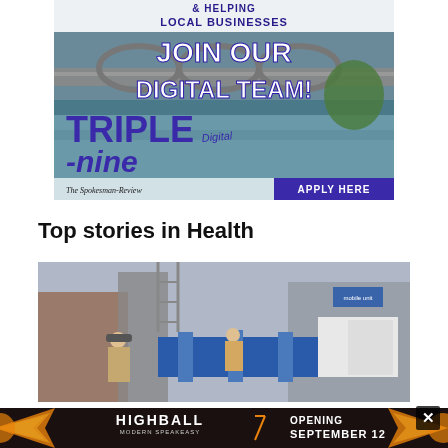[Figure (advertisement): Triple Nine Digital advertisement for The Spokesman-Review. Shows a bridge over a river with text: '& HELPING LOCAL BUSINESSES', 'JOIN OUR DIGITAL TEAM!', 'TRIPLE -nine Digital', 'The Spokesman-Review', 'APPLY HERE']
Top stories in Health
[Figure (photo): Photo of people in masks at what appears to be an outdoor health or testing facility with blue barriers and scaffolding in background.]
[Figure (advertisement): Highball Modern Speakeasy advertisement. Dark background with sunburst graphics and text: 'HIGHBALL MODERN SPEAKEASY', 'OPENING SEPTEMBER 12'. Close button (x) in top right.]